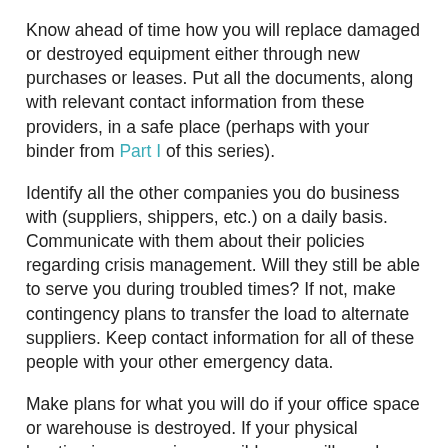Know ahead of time how you will replace damaged or destroyed equipment either through new purchases or leases. Put all the documents, along with relevant contact information from these providers, in a safe place (perhaps with your binder from Part I of this series).
Identify all the other companies you do business with (suppliers, shippers, etc.) on a daily basis. Communicate with them about their policies regarding crisis management. Will they still be able to serve you during troubled times? If not, make contingency plans to transfer the load to alternate suppliers. Keep contact information for all of these people with your other emergency data.
Make plans for what you will do if your office space or warehouse is destroyed. If your physical location is gone or inaccessible, you will need other arrangements. Can you run the business from another location? Can it run from your home? Maybe several homes? If not, then develop relationships with other companies where you both agree to share space during a disaster. Meet with local businesses in your building or area to coordinate crisis planning.